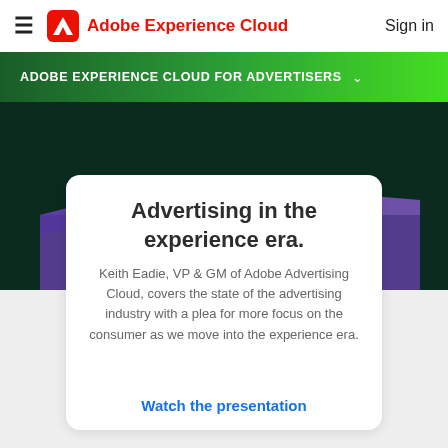Adobe Experience Cloud  Sign in
ADOBE EXPERIENCE CLOUD FOR ADVERTISERS
[Figure (illustration): Dark green hero background with purple/violet diagonal graphic banner]
Advertising in the experience era.
Keith Eadie, VP & GM of Adobe Advertising Cloud, covers the state of the advertising industry with a plea for more focus on the consumer as we move into the experience era.
Watch the presentation